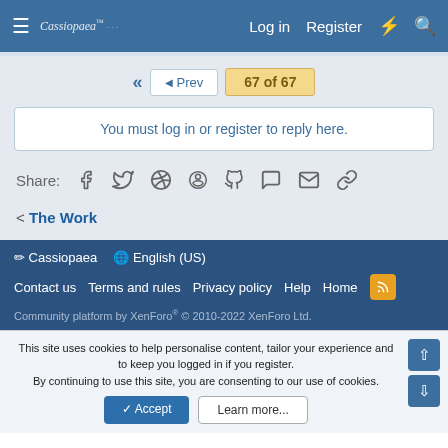Cassiopaea  Log in  Register
◄◄  ◄ Prev  67 of 67
You must log in or register to reply here.
Share: (social icons)
< The Work
✏ Cassiopaea  🌐 English (US)
Contact us  Terms and rules  Privacy policy  Help  Home  [RSS]
Community platform by XenForo® © 2010-2022 XenForo Ltd.
This site uses cookies to help personalise content, tailor your experience and to keep you logged in if you register.
By continuing to use this site, you are consenting to our use of cookies.
[✓ Accept]  [Learn more...]